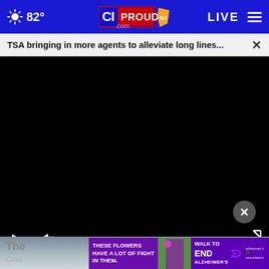82° CIPROUD.com LIVE
TSA bringing in more agents to alleviate long lines...
[Figure (screenshot): Black video player with play and mute controls at bottom left, expand icon at bottom right]
[Figure (photo): Partial photo visible below video player, appears to show a person outdoors]
The
Colo
[Figure (other): Advertisement banner: THESE FLOWERS HAVE A LOT OF FIGHT IN THEM. WALK TO END ALZHEIMER'S - Alzheimer's association]